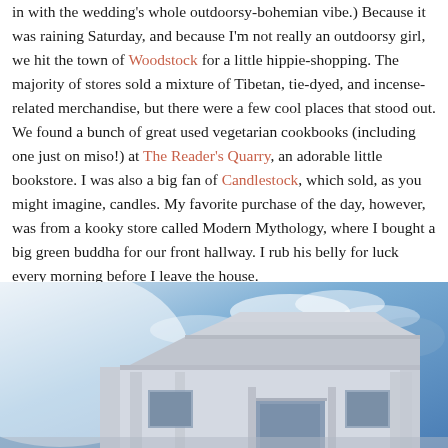in with the wedding's whole outdoorsy-bohemian vibe.) Because it was raining Saturday, and because I'm not really an outdoorsy girl, we hit the town of Woodstock for a little hippie-shopping. The majority of stores sold a mixture of Tibetan, tie-dyed, and incense-related merchandise, but there were a few cool places that stood out. We found a bunch of great used vegetarian cookbooks (including one just on miso!) at The Reader's Quarry, an adorable little bookstore. I was also a big fan of Candlestock, which sold, as you might imagine, candles. My favorite purchase of the day, however, was from a kooky store called Modern Mythology, where I bought a big green buddha for our front hallway. I rub his belly for luck every morning before I leave the house.
[Figure (photo): Exterior of a building with classical architectural elements (pediment/triangular gable, pilasters) photographed against a blue cloudy sky. A circular hamburger menu icon is overlaid in the top right area of the image.]